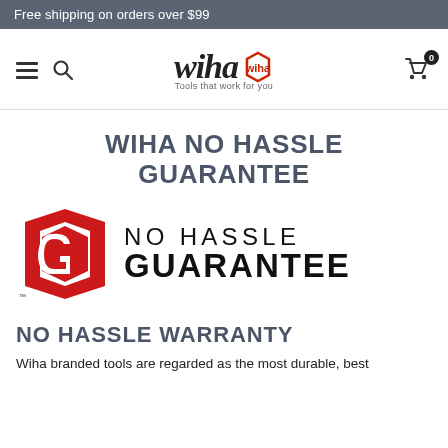Free shipping on orders over $99
[Figure (logo): Wiha logo with hamburger menu, search icon, and cart icon navigation bar]
WIHA NO HASSLE GUARANTEE
[Figure (logo): Wiha No Hassle Guarantee logo — red hexagonal G shape with TM mark, and text NO HASSLE GUARANTEE in large bold black letters]
NO HASSLE WARRANTY
Wiha branded tools are regarded as the most durable, best